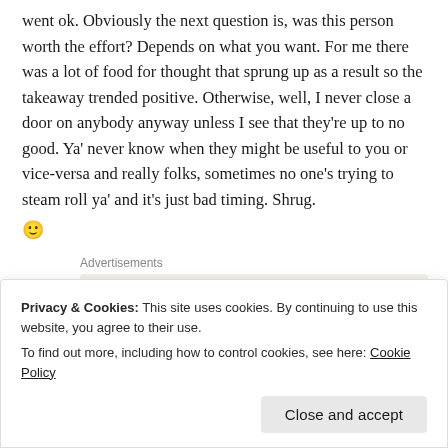went ok. Obviously the next question is, was this person worth the effort? Depends on what you want. For me there was a lot of food for thought that sprung up as a result so the takeaway trended positive. Otherwise, well, I never close a door on anybody anyway unless I see that they're up to no good. Ya' never know when they might be useful to you or vice-versa and really folks, sometimes no one's trying to steam roll ya' and it's just bad timing. Shrug. 🙂
Advertisements
[Figure (other): Advertisement box with beige background. Title: Need a website quickly – and on a budget? Subtitle: Let us build it for you. Partial circular image visible at bottom right.]
Privacy & Cookies: This site uses cookies. By continuing to use this website, you agree to their use.
To find out more, including how to control cookies, see here: Cookie Policy
Close and accept